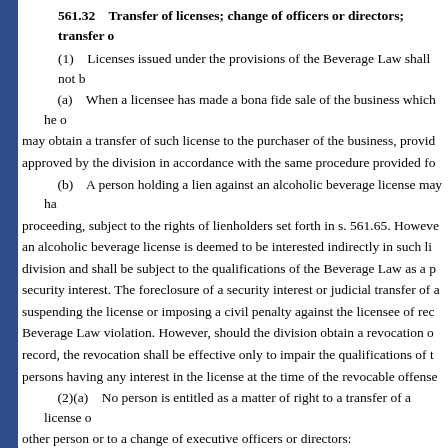561.32    Transfer of licenses; change of officers or directors; transfer o
(1)    Licenses issued under the provisions of the Beverage Law shall not b
(a)    When a licensee has made a bona fide sale of the business which he o may obtain a transfer of such license to the purchaser of the business, provid approved by the division in accordance with the same procedure provided fo
(b)    A person holding a lien against an alcoholic beverage license may ha proceeding, subject to the rights of lienholders set forth in s. 561.65. Howeve an alcoholic beverage license is deemed to be interested indirectly in such li division and shall be subject to the qualifications of the Beverage Law as a p security interest. The foreclosure of a security interest or judicial transfer of a suspending the license or imposing a civil penalty against the licensee of rec Beverage Law violation. However, should the division obtain a revocation o record, the revocation shall be effective only to impair the qualifications of t persons having any interest in the license at the time of the revocable offense
(2)(a)    No person is entitled as a matter of right to a transfer of a license o other person or to a change of executive officers or directors:
1.    If the division has notified the licensee in writing that a revocation, su proceeding under s. 561.42 has been or will be brought against the license; o
2.    If a licensee, executive officer, director, or person holding an interest : charged, indicted, or convicted, or has appealed the conviction, of a crime wh beverage laws. Any licensee, executive officer, director, or person holding an arrested, charged, indicted, or convicted, or has appealed the conviction, of a